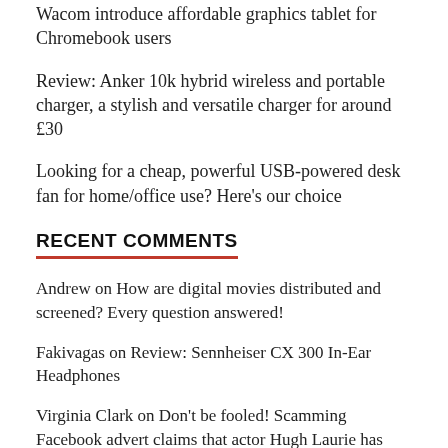Wacom introduce affordable graphics tablet for Chromebook users
Review: Anker 10k hybrid wireless and portable charger, a stylish and versatile charger for around £30
Looking for a cheap, powerful USB-powered desk fan for home/office use? Here's our choice
RECENT COMMENTS
Andrew on How are digital movies distributed and screened? Every question answered!
Fakivagas on Review: Sennheiser CX 300 In-Ear Headphones
Virginia Clark on Don't be fooled! Scamming Facebook advert claims that actor Hugh Laurie has 'taken his own life'